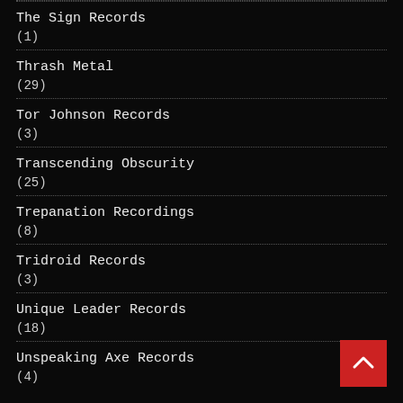The Sign Records
(1)
Thrash Metal
(29)
Tor Johnson Records
(3)
Transcending Obscurity
(25)
Trepanation Recordings
(8)
Tridroid Records
(3)
Unique Leader Records
(18)
Unspeaking Axe Records
(4)